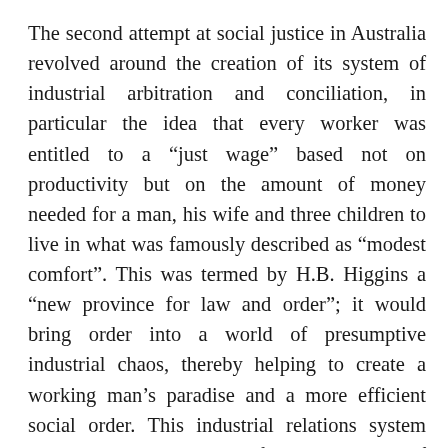The second attempt at social justice in Australia revolved around the creation of its system of industrial arbitration and conciliation, in particular the idea that every worker was entitled to a “just wage” based not on productivity but on the amount of money needed for a man, his wife and three children to live in what was famously described as “modest comfort”. This was termed by H.B. Higgins a “new province for law and order”; it would bring order into a world of presumptive industrial chaos, thereby helping to create a working man’s paradise and a more efficient social order. This industrial relations system was linked to a policy of the protection of industry through a regime of tariffs, designed to ensure that industries which received tariff assistance also paid decent wages to their workers. This system created its